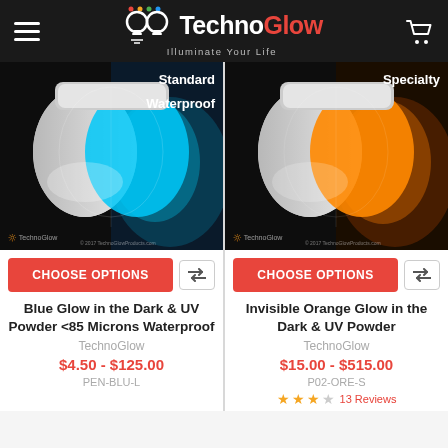[Figure (logo): TechnoGlow logo with tagline 'Illuminate Your Life' on dark header bar with hamburger menu and cart icon]
[Figure (photo): Blue glow in the dark powder jar shown in two halves - left normal white powder, right glowing cyan blue. Labels: Standard, Waterproof. TechnoGlow branding.]
[Figure (photo): Orange glow in the dark powder jar shown in two halves - left normal white powder, right glowing orange. Label: Specialty. TechnoGlow branding.]
CHOOSE OPTIONS
CHOOSE OPTIONS
Blue Glow in the Dark & UV Powder <85 Microns Waterproof
Invisible Orange Glow in the Dark & UV Powder
TechnoGlow
TechnoGlow
$4.50 - $125.00
$15.00 - $515.00
PEN-BLU-L
P02-ORE-S
13 Reviews